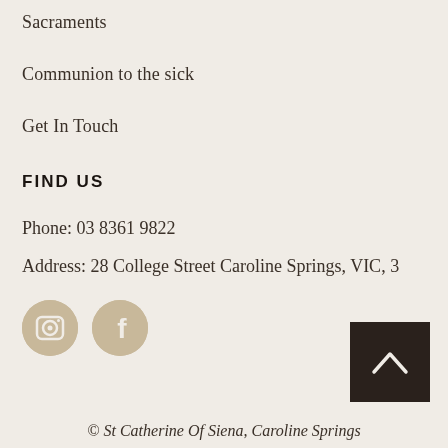Sacraments
Communion to the sick
Get In Touch
FIND US
Phone: 03 8361 9822
Address: 28 College Street Caroline Springs, VIC, 3
[Figure (logo): Instagram and Facebook social media icons as circular beige/tan colored buttons]
[Figure (other): Dark brown square button with white upward chevron arrow (back to top)]
© St Catherine Of Siena, Caroline Springs